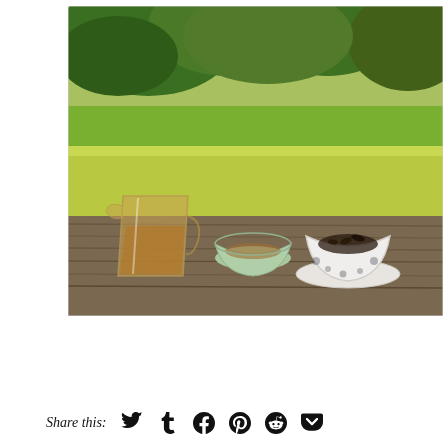[Figure (photo): Outdoor photo of tea items on a weathered wooden table: a glass pitcher/fairness cup with amber tea on the left, a small celadon green scalloped bowl in the center, and a white decorative bowl with dark tea leaves on the right. Background shows lush green grass and trees with dappled sunlight.]
Share this: